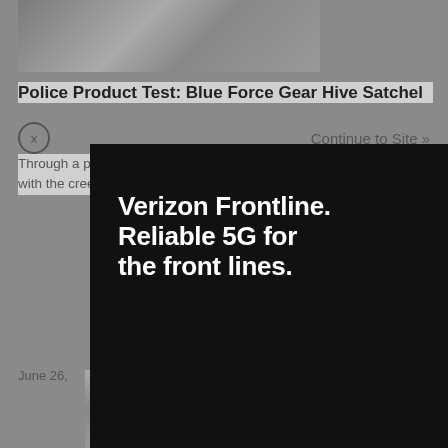[Figure (photo): Partial image of a product, visible at the top of the page behind a dimmed overlay]
Police Product Test: Blue Force Gear Hive Satchel
Continue to Site »
Through a partnership with Chris Costa, Blue Force recently released a backpack with the discreetly carry everything compact
June 26,
[Figure (advertisement): Verizon Frontline full-screen advertisement on black background. Headline: Verizon Frontline. Reliable 5G for the front lines. Verizon logo with checkmark. Learn more > button. Disclaimer text about Priority and Preemption services.]
[Figure (photo): Partial image visible at the bottom of the page, showing boots or footwear]